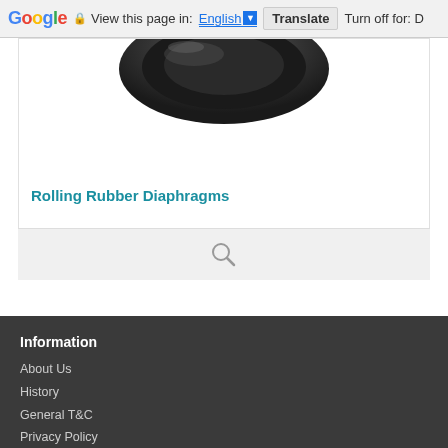Google | View this page in: English | Translate | Turn off for: D
[Figure (photo): Bottom portion of a black rolling rubber diaphragm product shown from above against white background]
Rolling Rubber Diaphragms
[Figure (other): Search icon (magnifying glass) in a light grey search bar area]
Information
About Us
History
General T&C
Privacy Policy
GDPR
Customer Service